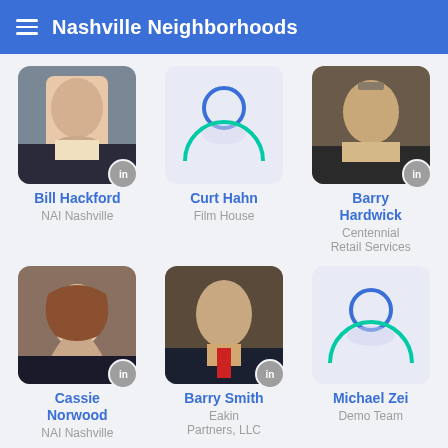Nashville Neighborhoods
[Figure (photo): Profile photo of Bill Hackford, man in dark suit smiling]
Bill Hackford
NAI Nashville
[Figure (illustration): Generic avatar placeholder icon with blue circle and teal semicircle]
Curt Hahn
Film House
[Figure (photo): Profile photo of Barry Hardwick, older man in suit with glasses]
Barry Hardwick
Centennial Retail Services
[Figure (photo): Profile photo of Cassie Norwood, young woman with long brown hair]
Cassie Norwood
NAI Nashville
[Figure (photo): Profile photo of Barry Smith, older man in dark suit with red tie]
Barry Smith
Eakin Partners, LLC
[Figure (illustration): Generic avatar placeholder icon with blue circle and teal semicircle]
Michael Zei
Demo Team